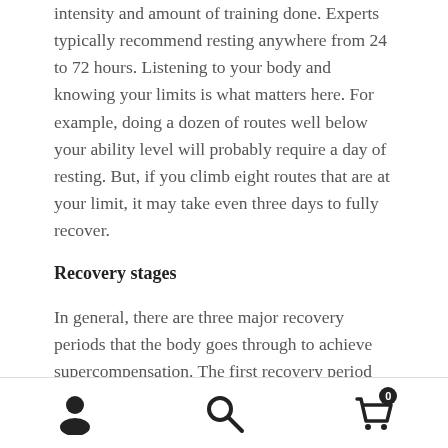intensity and amount of training done. Experts typically recommend resting anywhere from 24 to 72 hours. Listening to your body and knowing your limits is what matters here. For example, doing a dozen of routes well below your ability level will probably require a day of resting. But, if you climb eight routes that are at your limit, it may take even three days to fully recover.
Recovery stages
In general, there are three major recovery periods that the body goes through to achieve supercompensation. The first recovery period extends from 10 seconds to 30 minutes after a workout. This is roughly the amount of time typically spent resting between routes during a
[user icon] [search icon] [cart icon with badge 0]